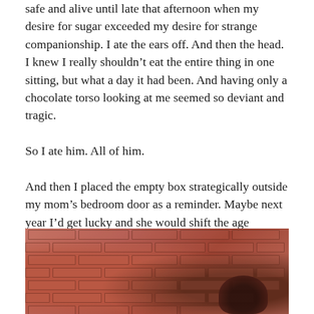safe and alive until late that afternoon when my desire for sugar exceeded my desire for strange companionship. I ate the ears off. And then the head. I knew I really shouldn't eat the entire thing in one sitting, but what a day it had been. And having only a chocolate torso looking at me seemed so deviant and tragic.

So I ate him. All of him.

And then I placed the empty box strategically outside my mom's bedroom door as a reminder. Maybe next year I'd get lucky and she would shift the age requirements.

Happy Easter. You're never too old for it.
[Figure (photo): A blurry, reddish-toned photograph of a brick wall with what appears to be a person's head visible in the lower right area.]